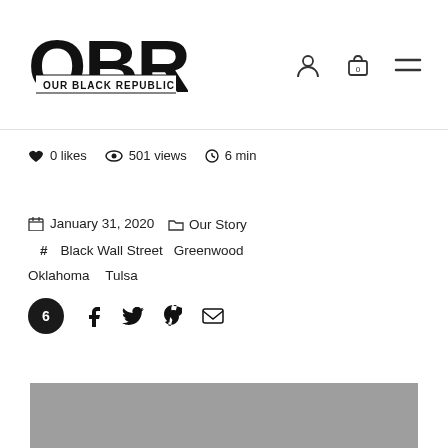OUR BLACK REPUBLIC — navigation header with logo and icons
0 likes   501 views   6 min
January 31, 2020   Our Story   # Black Wall Street   Greenwood   Oklahoma   Tulsa
Share icons: 6, Facebook, Twitter, Pinterest, Email
[Figure (photo): Gray image placeholder at bottom of page]